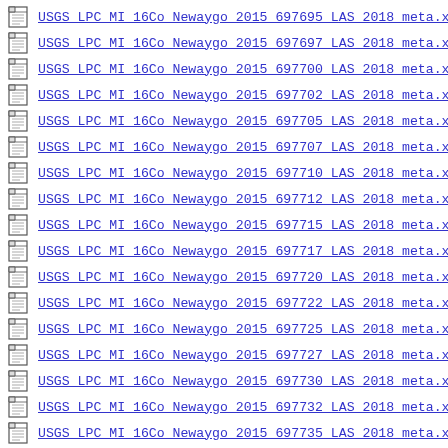USGS LPC MI 16Co Newaygo 2015 697695 LAS 2018 meta.xml
USGS LPC MI 16Co Newaygo 2015 697697 LAS 2018 meta.xml
USGS LPC MI 16Co Newaygo 2015 697700 LAS 2018 meta.xml
USGS LPC MI 16Co Newaygo 2015 697702 LAS 2018 meta.xml
USGS LPC MI 16Co Newaygo 2015 697705 LAS 2018 meta.xml
USGS LPC MI 16Co Newaygo 2015 697707 LAS 2018 meta.xml
USGS LPC MI 16Co Newaygo 2015 697710 LAS 2018 meta.xml
USGS LPC MI 16Co Newaygo 2015 697712 LAS 2018 meta.xml
USGS LPC MI 16Co Newaygo 2015 697715 LAS 2018 meta.xml
USGS LPC MI 16Co Newaygo 2015 697717 LAS 2018 meta.xml
USGS LPC MI 16Co Newaygo 2015 697720 LAS 2018 meta.xml
USGS LPC MI 16Co Newaygo 2015 697722 LAS 2018 meta.xml
USGS LPC MI 16Co Newaygo 2015 697725 LAS 2018 meta.xml
USGS LPC MI 16Co Newaygo 2015 697727 LAS 2018 meta.xml
USGS LPC MI 16Co Newaygo 2015 697730 LAS 2018 meta.xml
USGS LPC MI 16Co Newaygo 2015 697732 LAS 2018 meta.xml
USGS LPC MI 16Co Newaygo 2015 697735 LAS 2018 meta.xml